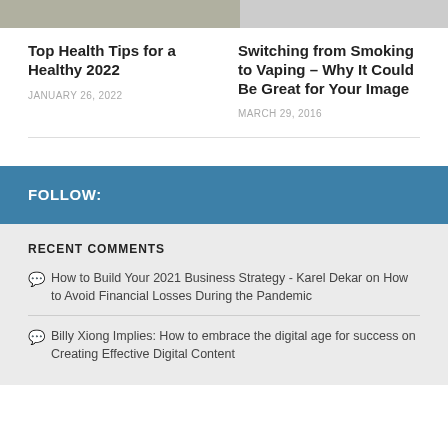[Figure (photo): Two cropped photo thumbnails side by side at top of page]
Top Health Tips for a Healthy 2022
JANUARY 26, 2022
Switching from Smoking to Vaping – Why It Could Be Great for Your Image
MARCH 29, 2016
FOLLOW:
RECENT COMMENTS
How to Build Your 2021 Business Strategy - Karel Dekar on How to Avoid Financial Losses During the Pandemic
Billy Xiong Implies: How to embrace the digital age for success on Creating Effective Digital Content